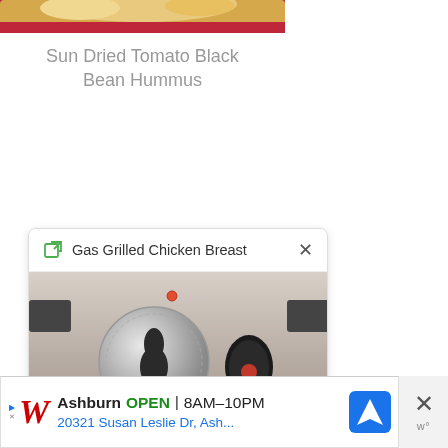[Figure (photo): Partial photo of food (chips/tortilla chips) on a red plate, cropped at the top of the page]
Sun Dried Tomato Black Bean Hummus
[Figure (screenshot): Popup card showing 'Gas Grilled Chicken Breast' with a close (X) button, and a photo of a gas grill showing a stainless steel panel with a large chrome knob and a black igniter button]
[Figure (photo): Walgreens advertisement banner: Ashburn OPEN 8AM-10PM, 20321 Susan Leslie Dr, Ash...]